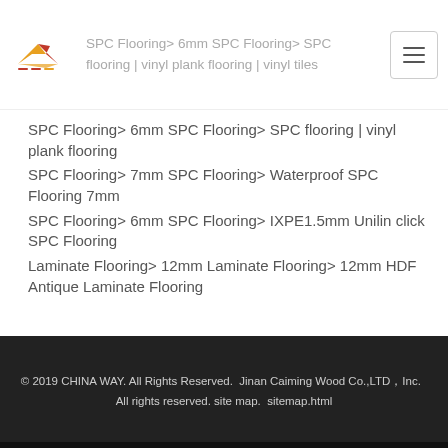SPC Flooring> 6mm SPC Flooring> SPC flooring | vinyl plank flooring | vinyl tiles
SPC Flooring> 6mm SPC Flooring> SPC flooring | vinyl plank flooring
SPC Flooring> 7mm SPC Flooring> Waterproof SPC Flooring 7mm
SPC Flooring> 6mm SPC Flooring> IXPE1.5mm Unilin click SPC Flooring
Laminate Flooring> 12mm Laminate Flooring> 12mm HDF Antique Laminate Flooring
© 2019 CHINA WAY. All Rights Reserved.  Jinan Caiming Wood Co.,LTD，Inc.   All rights reserved. site map.  sitemap.html